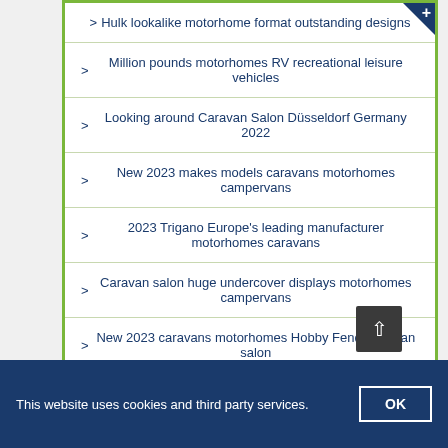Hulk lookalike motorhome format outstanding designs
Million pounds motorhomes RV recreational leisure vehicles
Looking around Caravan Salon Düsseldorf Germany 2022
New 2023 makes models caravans motorhomes campervans
2023 Trigano Europe's leading manufacturer motorhomes caravans
Caravan salon huge undercover displays motorhomes campervans
New 2023 caravans motorhomes Hobby Fendt caravan salon
This website uses cookies and third party services.  OK